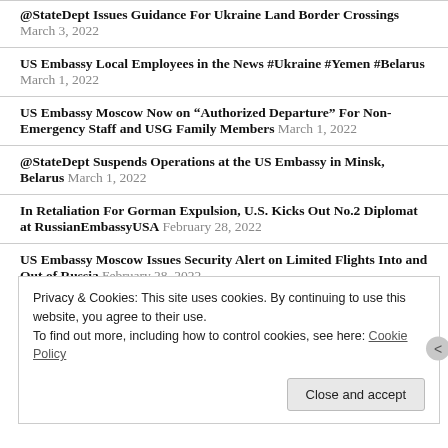@StateDept Issues Guidance For Ukraine Land Border Crossings March 3, 2022
US Embassy Local Employees in the News #Ukraine #Yemen #Belarus March 1, 2022
US Embassy Moscow Now on “Authorized Departure” For Non-Emergency Staff and USG Family Members March 1, 2022
@StateDept Suspends Operations at the US Embassy in Minsk, Belarus March 1, 2022
In Retaliation For Gorman Expulsion, U.S. Kicks Out No.2 Diplomat at RussianEmbassyUSA February 28, 2022
US Embassy Moscow Issues Security Alert on Limited Flights Into and Out of Russia February 28, 2022
Privacy & Cookies: This site uses cookies. By continuing to use this website, you agree to their use.
To find out more, including how to control cookies, see here: Cookie Policy